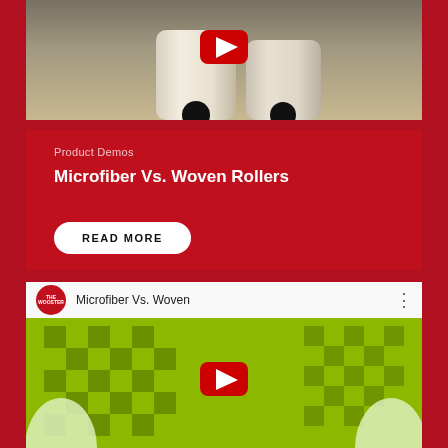[Figure (screenshot): Paint rollers resting on a surface with a YouTube play button overlay]
Product Demos
Microfiber Vs. Woven Rollers
READ MORE
[Figure (screenshot): Embedded YouTube video player showing Wooster brand video titled 'Microfiber Vs. Woven' with a green checkerboard thumbnail and YouTube play button overlay]